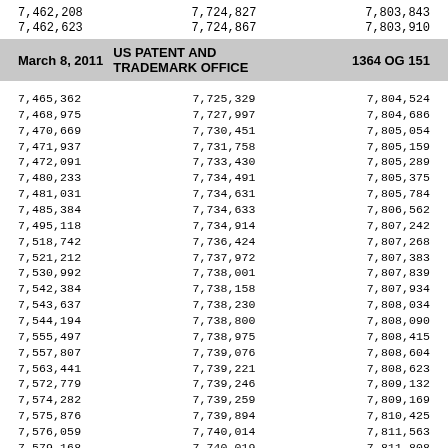7,462,208  7,724,827  7,803,843
7,462,623  7,724,867  7,803,910
March 8, 2011  US PATENT AND TRADEMARK OFFICE  1364 OG 151
7,465,362  7,725,329  7,804,524
7,468,975  7,727,997  7,804,686
7,470,669  7,730,451  7,805,054
7,471,937  7,731,758  7,805,159
7,472,091  7,733,430  7,805,289
7,480,233  7,734,491  7,805,375
7,481,031  7,734,631  7,805,784
7,485,384  7,734,633  7,806,562
7,495,118  7,734,914  7,807,242
7,518,742  7,736,424  7,807,268
7,521,212  7,737,972  7,807,383
7,530,992  7,738,001  7,807,839
7,542,384  7,738,158  7,807,934
7,543,637  7,738,230  7,808,034
7,544,194  7,738,800  7,808,090
7,555,497  7,738,975  7,808,415
7,557,807  7,739,076  7,808,604
7,563,441  7,739,221  7,808,623
7,572,779  7,739,246  7,809,132
7,574,282  7,739,259  7,809,169
7,575,876  7,739,894  7,810,425
7,576,059  7,740,014  7,811,563
7,579,168  7,740,019  7,811,808